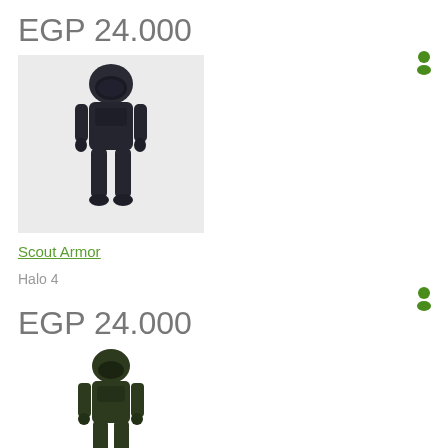EGP 24.000
[Figure (illustration): Dark armored sci-fi action figure (Scout Armor) standing on a light gray background, viewed from a slight angle]
Scout Armor
Halo 4
EGP 24.000
[Figure (illustration): Dark green armored sci-fi action figure (Scout Armor) standing on a white background, viewed from a slight angle]